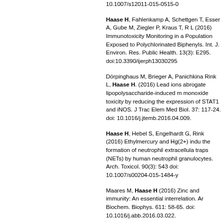10.1007/s12011-015-0515-0
Haase H, Fahlenkamp A, Schettgen T, Esser A, Gube M, Ziegler P, Kraus T, R L (2016) Immunotoxicity Monitoring in a Population Exposed to Polychlorinated Biphenyls. Int. J. Environ. Res. Public Health. 13(3): E295. doi:10.3390/ijerph13030295
Dörpinghaus M, Brieger A, Panichkina Rink L, Haase H. (2016) Lead ions abrogate lipopolysaccharide-induced m monoxide toxicity by reducing the expression of STAT1 and iNOS. J Trac Elem Med Biol. 37: 117-24. doi: 10.1016/j.jtemb.2016.04.009.
Haase H, Hebel S, Engelhardt G, Rink (2016) Ethylmercury and Hg(2+) indu the formation of neutrophil extracellula traps (NETs) by human neutrophil granulocytes. Arch. Toxicol. 90(3): 543 doi: 10.1007/s00204-015-1484-y
Maares M, Haase H (2016) Zinc and immunity: An essential interrelation. Ar Biochem. Biophys. 611: 58-65. doi: 10.1016/j.abb.2016.03.022.
Ollig J, Kloubert V, Weßels I, Haase H